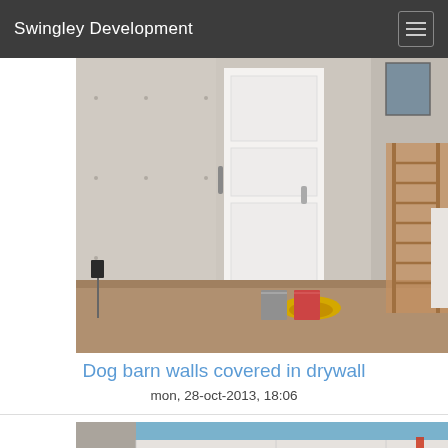Swingley Development
[Figure (photo): Interior room photo showing drywall installed on walls, a white door with handle, yellow hose and buckets on plywood floor, and a ladder on the right side. Tools and materials visible.]
Dog barn walls covered in drywall
mon, 28-oct-2013, 18:06
[Figure (photo): Interior of dog barn showing freshly installed white drywall panels on walls, blue ceiling visible at top, a window opening in center wall, and construction materials on the right side.]